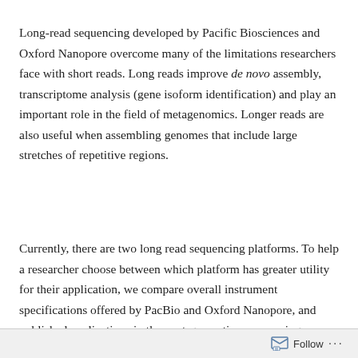Long-read sequencing developed by Pacific Biosciences and Oxford Nanopore overcome many of the limitations researchers face with short reads. Long reads improve de novo assembly, transcriptome analysis (gene isoform identification) and play an important role in the field of metagenomics. Longer reads are also useful when assembling genomes that include large stretches of repetitive regions.
Currently, there are two long read sequencing platforms. To help a researcher choose between which platform has greater utility for their application, we compare overall instrument specifications offered by PacBio and Oxford Nanopore, and published applications in the next-generation sequencing
Follow